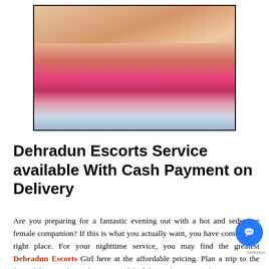[Figure (photo): Photo of person's legs wearing pink shorts and colorful striped socks, lying on a white surface]
Dehradun Escorts Service available With Cash Payment on Delivery
Are you preparing for a fantastic evening out with a hot and seductive female companion? If this is what you actually want, you have come to the right place. For your nighttime service, you may find the greatest Dehradun Escorts Girl here at the affordable pricing. Plan a trip to the foot of the Himalayas this time, and find the perfect partner for